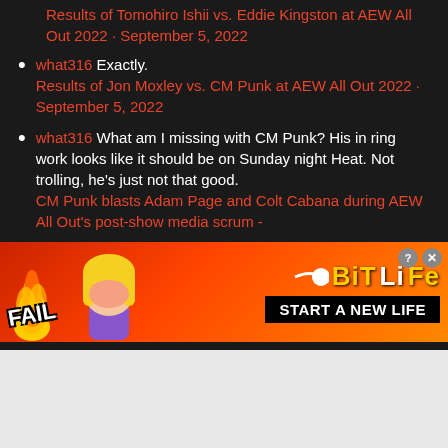Results of Tomohiro Ishii vs. Eddie Kingston at AEW All Out 2022 · September 5, 2022
what316 Exactly. Results of Jon Moxley vs. CM Punk at AEW All Out 2022 · September 5, 2022
what316 What am I missing with CM Punk? His in ring work looks like it should be on Sunday night Heat. Not trolling, he's just not that good. CM Punk blasts Adam Page and Colt Cabana during AEW All Out's post-show media scrum -
[Figure (screenshot): BitLife mobile game advertisement banner with FAIL text, animated character, flames, and START A NEW LIFE button]